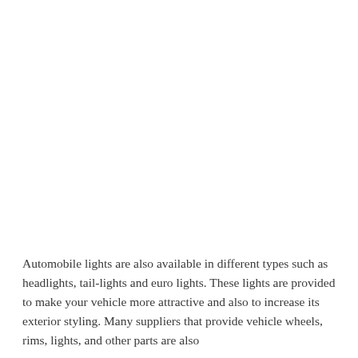Automobile lights are also available in different types such as headlights, tail-lights and euro lights. These lights are provided to make your vehicle more attractive and also to increase its exterior styling. Many suppliers that provide vehicle wheels, rims, lights, and other parts are also